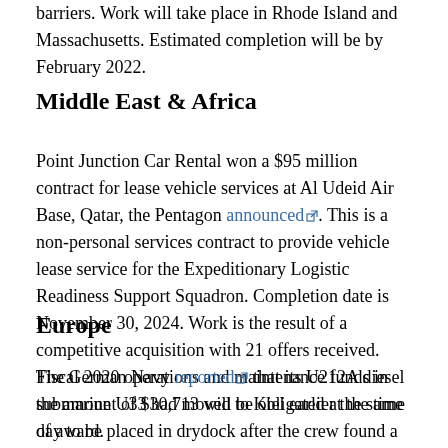barriers. Work will take place in Rhode Island and Massachusetts. Estimated completion will be by February 2022.
Middle East & Africa
Point Junction Car Rental won a $95 million contract for lease vehicle services at Al Udeid Air Base, Qatar, the Pentagon announced. This is a non-personal services contract to provide vehicle lease service for the Expeditionary Logistic Readiness Support Squadron. Completion date is November 30, 2024. Work is the result of a competitive acquisition with 21 offers received. Fiscal 2020 operations and maintenance funds in the amount of $30,713 will be obligated at the time of award.
Europe
The German Navy reported that its U212A diesel submarine U33 had moved to Kiel earlier the same day to be placed in drydock after the crew found a leak while at sea the previous week. ThyssenKrupp Marine Systems' Howaldtswerke-Deutsche